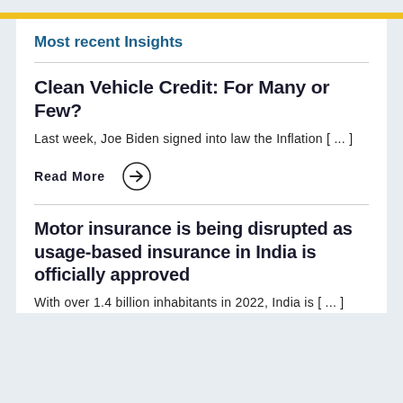Most recent Insights
Clean Vehicle Credit: For Many or Few?
Last week, Joe Biden signed into law the Inflation [ ... ]
Read More →
Motor insurance is being disrupted as usage-based insurance in India is officially approved
With over 1.4 billion inhabitants in 2022, India is [ ... ]